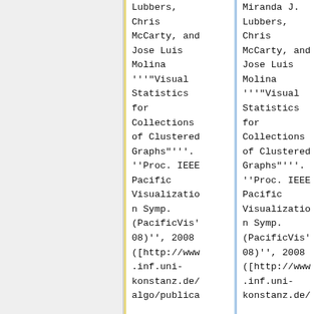Lubbers, Chris McCarty, and Jose Luis Molina '''"Visual Statistics for Collections of Clustered Graphs"'''. ''Proc. IEEE Pacific Visualization Symp. (PacificVis'08)'', 2008 ([http://www.inf.uni-konstanz.de/algo/publica
Miranda J. Lubbers, Chris McCarty, and Jose Luis Molina '''"Visual Statistics for Collections of Clustered Graphs"'''. ''Proc. IEEE Pacific Visualization Symp. (PacificVis'08)'', 2008 ([http://www.inf.uni-konstanz.de/